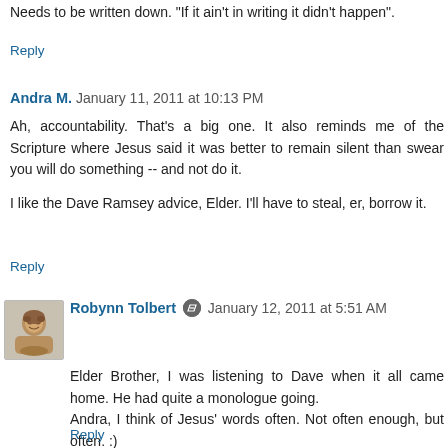Needs to be written down. "If it ain't in writing it didn't happen".
Reply
Andra M. January 11, 2011 at 10:13 PM
Ah, accountability. That's a big one. It also reminds me of the Scripture where Jesus said it was better to remain silent than swear you will do something -- and not do it.
I like the Dave Ramsey advice, Elder. I'll have to steal, er, borrow it.
Reply
Robynn Tolbert January 12, 2011 at 5:51 AM
Elder Brother, I was listening to Dave when it all came home. He had quite a monologue going. Andra, I think of Jesus' words often. Not often enough, but often. :)
Reply